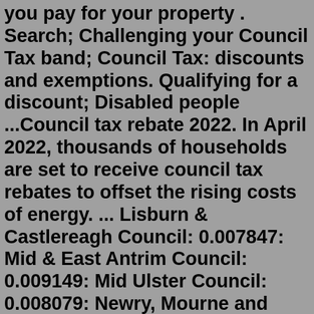you pay for your property . Search; Challenging your Council Tax band; Council Tax: discounts and exemptions. Qualifying for a discount; Disabled people ...Council tax rebate 2022. In April 2022, thousands of households are set to receive council tax rebates to offset the rising costs of energy. ... Lisburn & Castlereagh Council: 0.007847: Mid & East Antrim Council: 0.009149: Mid Ulster Council: 0.008079: Newry, Mourne and Down Council: 0.008720:Feb 12, 2021 · You may qualify for a council tax exemption or discount if you or someone in your household is diagnosed as 'severely mentally impaired' by a registered medical practitioner (For example, GP, Psychiatrist, Neurologist etc.). A form will need to be filled in by a registered medical practitioner (usually an applicant's GP) to qualify for a ... These are the council tax band ranges in England: Band A: Up to £40,000. Band B: More than £40,000 and up to £52,000. Band C: More than £52,000 and up to £68,000markzware download free Discretionary Energy Rebate Scheme. 1. About the Council Tax